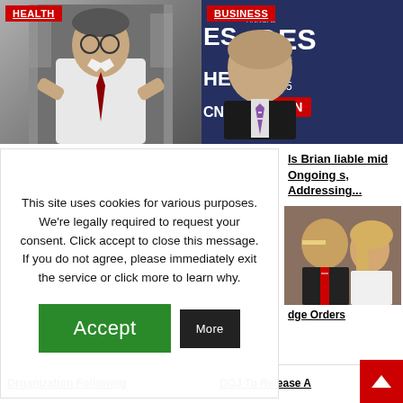[Figure (photo): Man in white lab coat with hands raised, HEALTH badge overlay, laboratory background]
[Figure (photo): Bald man in suit at CNN Heroes event, BUSINESS badge overlay, dark blue background]
This site uses cookies for various purposes. We're legally required to request your consent. Click accept to close this message. If you do not agree, please immediately exit the service or click more to learn why.
Accept
More
Is Brian liable mid Ongoing s, Addressing...
[Figure (photo): Two people in profile view, man with red tie and blonde woman]
Organization Following
DOJ To Release A
dge Orders